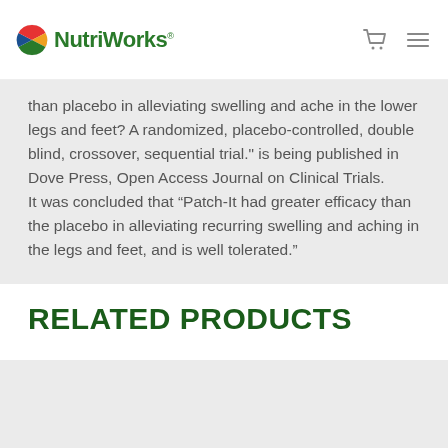NutriWorks
than placebo in alleviating swelling and ache in the lower legs and feet? A randomized, placebo-controlled, double blind, crossover, sequential trial." is being published in Dove Press, Open Access Journal on Clinical Trials.
It was concluded that “Patch-It had greater efficacy than the placebo in alleviating recurring swelling and aching in the legs and feet, and is well tolerated.”
RELATED PRODUCTS